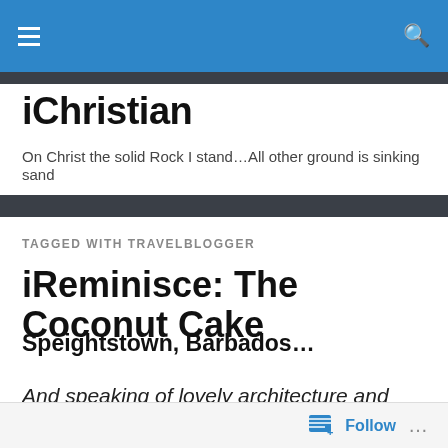iChristian
iChristian
On Christ the solid Rock I stand…All other ground is sinking sand
TAGGED WITH TRAVELBLOGGER
iReminisce: The Coconut Cake
Speightstown, Barbados…
And speaking of lovely architecture and colonial towns, your first stop is at
Follow